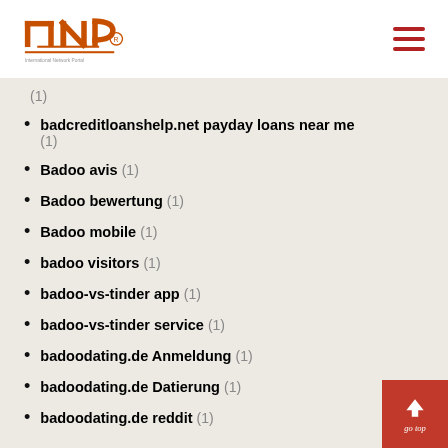INP logo and navigation menu
(1)
badcreditloanshelp.net payday loans near me (1)
Badoo avis (1)
Badoo bewertung (1)
Badoo mobile (1)
badoo visitors (1)
badoo-vs-tinder app (1)
badoo-vs-tinder service (1)
badoodating.de Anmeldung (1)
badoodating.de Datierung (1)
badoodating.de reddit (1)